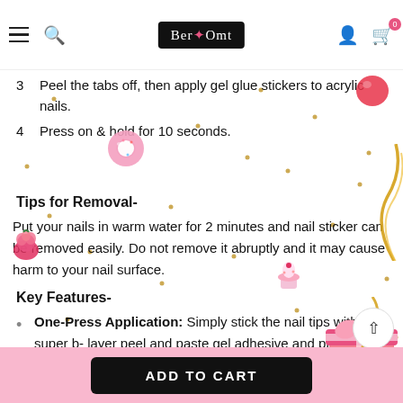Ber Omt
3  Peel the tabs off, then apply gel glue stickers to acrylic nails.
4  Press on & hold for 10 seconds.
Tips for Removal-
Put your nails in warm water for 2 minutes and nail sticker can be removed easily. Do not remove it abruptly and it may cause harm to your nail surface.
Key Features-
One-Press Application: Simply stick the nail tips with super b- layer peel and paste gel adhesive and press it to your real nails...No more messy glue or acrylic gel, the nails will stay perfectly.
Made of premium, eco-friendly ABS, it is chip proof, smudge proof,